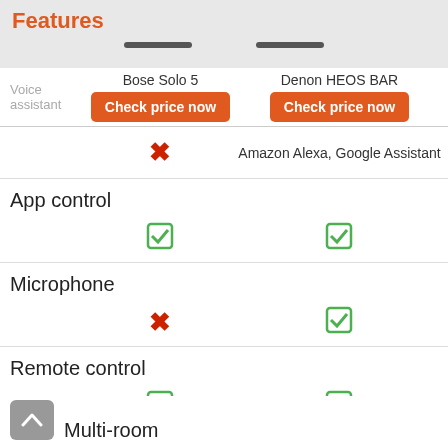Features
|  | Bose Solo 5 | Denon HEOS BAR |
| --- | --- | --- |
| Voice assistant | ✗ | Amazon Alexa, Google Assistant |
| App control | ✓ | ✓ |
| Microphone | ✗ | ✓ |
| Remote control | ✓ | ✓ |
| Multi-room |  |  |